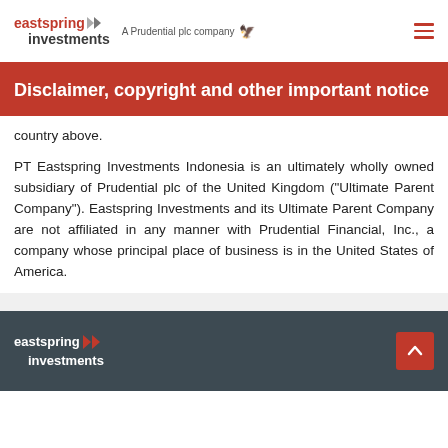eastspring investments — A Prudential plc company
Disclaimer, copyright and other important notice
country above.
PT Eastspring Investments Indonesia is an ultimately wholly owned subsidiary of Prudential plc of the United Kingdom ("Ultimate Parent Company"). Eastspring Investments and its Ultimate Parent Company are not affiliated in any manner with Prudential Financial, Inc., a company whose principal place of business is in the United States of America.
eastspring investments